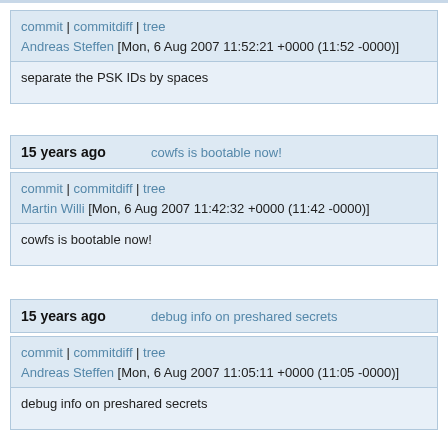commit | commitdiff | tree
Andreas Steffen [Mon, 6 Aug 2007 11:52:21 +0000 (11:52 -0000)]
separate the PSK IDs by spaces
15 years ago   cowfs is bootable now!
commit | commitdiff | tree
Martin Willi [Mon, 6 Aug 2007 11:42:32 +0000 (11:42 -0000)]
cowfs is bootable now!
15 years ago   debug info on preshared secrets
commit | commitdiff | tree
Andreas Steffen [Mon, 6 Aug 2007 11:05:11 +0000 (11:05 -0000)]
debug info on preshared secrets